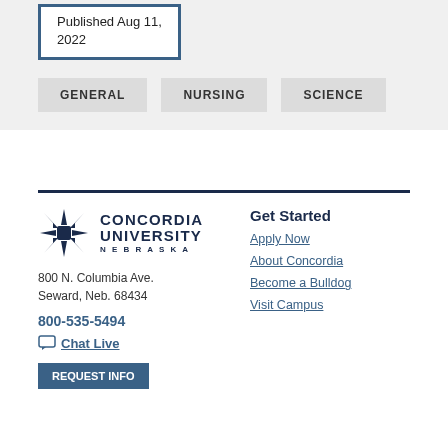Published Aug 11, 2022
GENERAL
NURSING
SCIENCE
[Figure (logo): Concordia University Nebraska logo with stylized compass/star icon]
800 N. Columbia Ave.
Seward, Neb. 68434
800-535-5494
Chat Live
Get Started
Apply Now
About Concordia
Become a Bulldog
Visit Campus